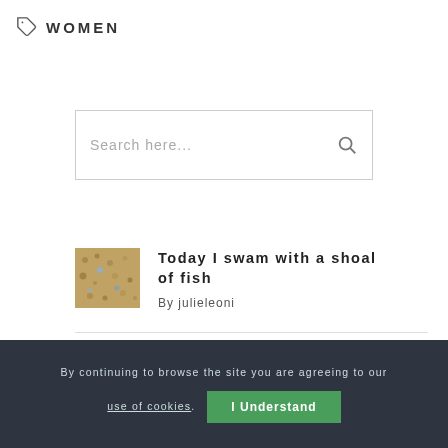WOMEN
Search here...
Today I swam with a shoal of fish
By julieleoni
Delight
By continuing to browse the site you are agreeing to our use of cookies. I Understand